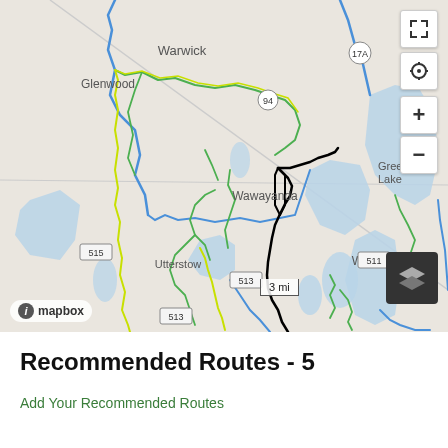[Figure (map): Mapbox map showing the region around Vernon Township, Wawayanda, West Milford, Warwick, and Greenwood Lake area in New Jersey/New York. Blue lines indicate waterways/rivers, green and yellow-green lines indicate cycling/trail routes, and a black highlighted route traces a specific recommended path through the area. Map controls include expand, locate, zoom in/out buttons and a layers button. Scale bar shows 3 mi.]
Recommended Routes - 5
Add Your Recommended Routes